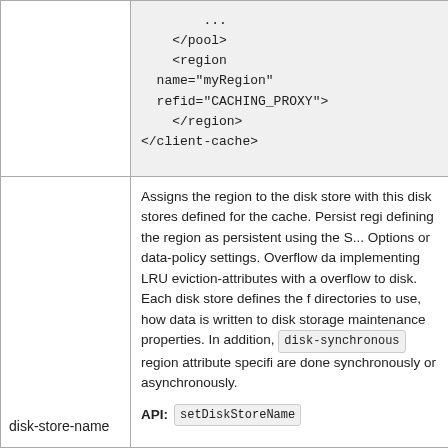| Attribute | Description |
| --- | --- |
|  | ...
</pool>
<region
name="myRegion"
refid="CACHING_PROXY">
</region>
</client-cache> |
| disk-store-name | Assigns the region to the disk store with this disk stores defined for the cache. Persist regions defining the region as persistent using the S... Options or data-policy settings. Overflow data implementing LRU eviction-attributes with a overflow to disk. Each disk store defines the f directories to use, how data is written to disk storage maintenance properties. In addition, disk-synchronous region attribute specifies are done synchronously or asynchronously.
API: setDiskStoreName |